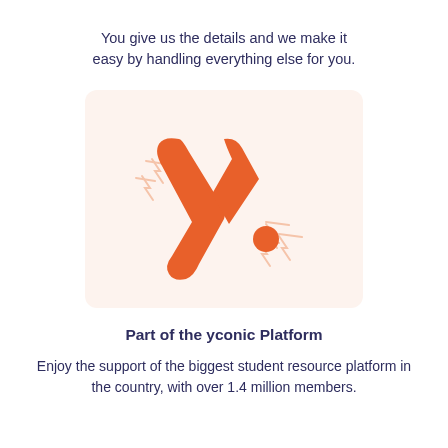You give us the details and we make it easy by handling everything else for you.
[Figure (logo): Yconic logo — orange stylized lowercase 'y.' with decorative lightning bolt sketches on a light peach/cream background]
Part of the yconic Platform
Enjoy the support of the biggest student resource platform in the country, with over 1.4 million members.